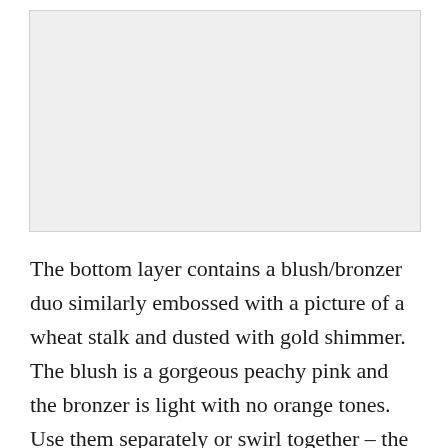[Figure (photo): Image placeholder at top of page]
The bottom layer contains a blush/bronzer duo similarly embossed with a picture of a wheat stalk and dusted with gold shimmer. The blush is a gorgeous peachy pink and the bronzer is light with no orange tones. Use them separately or swirl together – the choice is yours and its pretty either way!
The Face and Blush Duo Compact is so pretty you might just want to keep them in the “Cupboard of Fame” and not defile it. But its not only a pretty